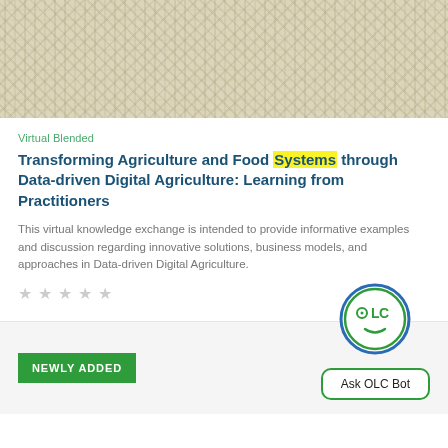[Figure (photo): Hero image of crops/agriculture field with light beige/tan texture]
Virtual Blended
Transforming Agriculture and Food Systems through Data-driven Digital Agriculture: Learning from Practitioners
This virtual knowledge exchange is intended to provide informative examples and discussion regarding innovative solutions, business models, and approaches in Data-driven Digital Agriculture.
★ ★ ★ ★ ★ (empty stars rating)
NEWLY ADDED
[Figure (logo): OLC Bot circular logo with face and text OLC]
Ask OLC Bot